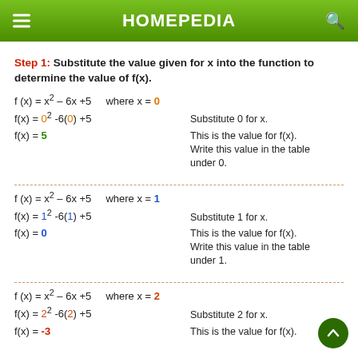HOMEPEDIA
Step 1: Substitute the value given for x into the function to determine the value of f(x).
Substitute 0 for x.
This is the value for f(x). Write this value in the table under 0.
Substitute 1 for x.
This is the value for f(x). Write this value in the table under 1.
Substitute 2 for x.
This is the value for f(x).